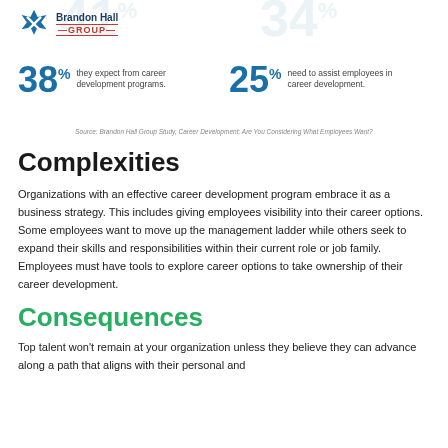[Figure (logo): Brandon Hall Group logo with blue star/X icon and text]
[Figure (infographic): Two statistics: 38% - they expect from career development programs; 25% - need to assist employees in career development]
Source: Brandon Hall Group Study, Career Development: Are You Considering What Employees Want?
Complexities
Organizations with an effective career development program embrace it as a business strategy. This includes giving employees visibility into their career options. Some employees want to move up the management ladder while others seek to expand their skills and responsibilities within their current role or job family. Employees must have tools to explore career options to take ownership of their career development.
Consequences
Top talent won't remain at your organization unless they believe they can advance along a path that aligns with their personal and